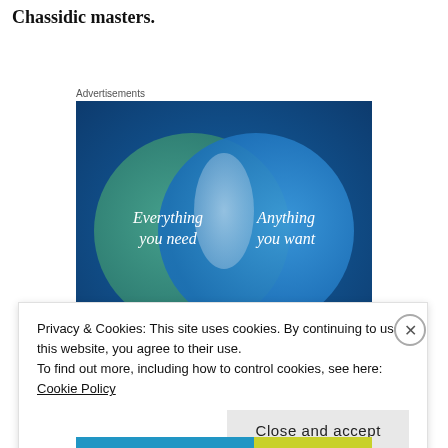Chassidic masters.
Advertisements
[Figure (infographic): Venn diagram advertisement with two overlapping circles on a dark blue/teal background. Left circle (teal/green) labeled 'Everything you need'. Right circle (blue) labeled 'Anything you want'. The overlapping region is light blue/white.]
Privacy & Cookies: This site uses cookies. By continuing to use this website, you agree to their use.
To find out more, including how to control cookies, see here: Cookie Policy
Close and accept